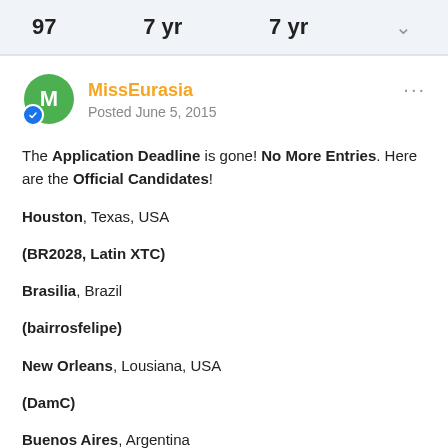97   7 yr   7 yr
MissEurasia
Posted June 5, 2015
The Application Deadline is gone! No More Entries. Here are the Official Candidates!

Houston, Texas, USA

(BR2028, Latin XTC)

Brasilia, Brazil

(bairrosfelipe)

New Orleans, Lousiana, USA

(DamC)

Buenos Aires, Argentina

(mr.bernham)